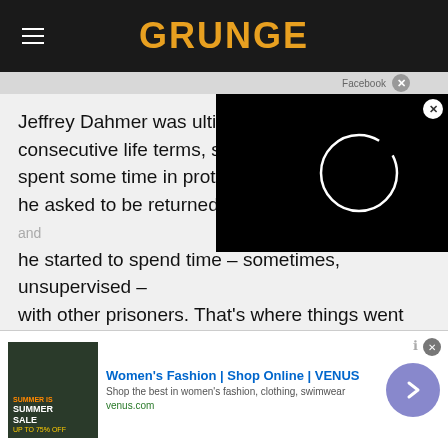GRUNGE
Jeffrey Dahmer was ultimately sentenced to consecutive life terms, says Bi... spent some time in protective... he asked to be returned to a more general population, and he started to spend time – sometimes, unsupervised – with other prisoners. That's where things went sideways.
[Figure (screenshot): Embedded video player overlay showing a loading spinner circle on black background]
[Figure (screenshot): Advertisement for Women's Fashion | Shop Online | VENUS with ad image showing Summer Sale]